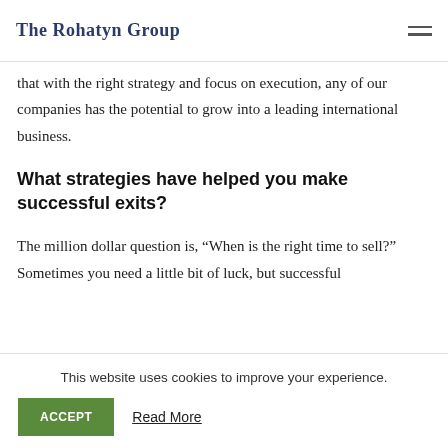The Rohatyn Group
that with the right strategy and focus on execution, any of our companies has the potential to grow into a leading international business.
What strategies have helped you make successful exits?
The million dollar question is, “When is the right time to sell?” Sometimes you need a little bit of luck, but successful
This website uses cookies to improve your experience.
ACCEPT
Read More